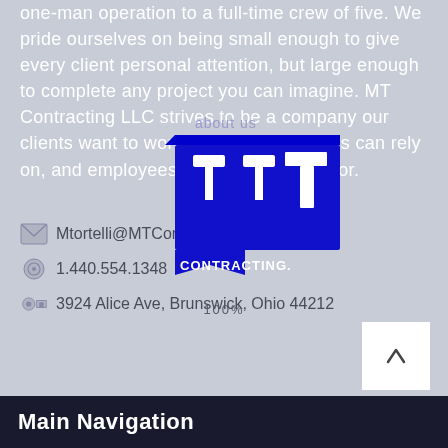one-man operation to a full-time crew of five. We pride ourselves on being small enough to give every client personal attention, but large enough to complete any project you can imagine. MT Contracting LLC strives to be a company our clients want to work with, our customers can rely on, and employees are proud to work for.
[Figure (logo): MT Contracting LLC blue logo with hammers and 'about us' text overlay]
Mtortelli@MTContractingllc.com
1.440.554.1348
3924 Alice Ave, Brunswick, Ohio 44212
100%
Main Navigation